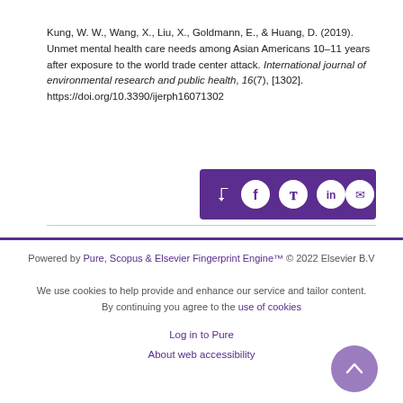Kung, W. W., Wang, X., Liu, X., Goldmann, E., & Huang, D. (2019). Unmet mental health care needs among Asian Americans 10–11 years after exposure to the world trade center attack. International journal of environmental research and public health, 16(7), [1302]. https://doi.org/10.3390/ijerph16071302
[Figure (other): Share bar with social media icons: share arrow, Facebook, Twitter, LinkedIn, Email on purple background]
Powered by Pure, Scopus & Elsevier Fingerprint Engine™ © 2022 Elsevier B.V
We use cookies to help provide and enhance our service and tailor content. By continuing you agree to the use of cookies
Log in to Pure
About web accessibility